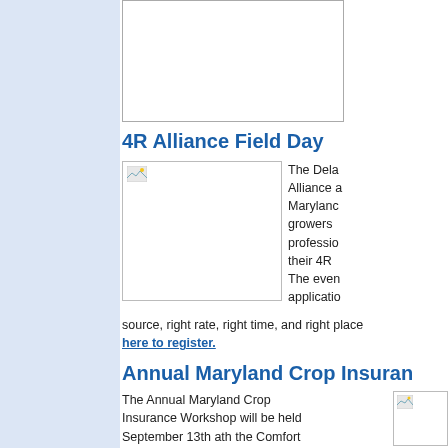[Figure (other): Top bordered box, partially visible, white background]
4R Alliance Field Day
[Figure (photo): Field day photo thumbnail with broken image icon]
The Delaware 4R Alliance and Maryland growers and professionals share their 4R The event application source, right rate, right time, and right place here to register.
Annual Maryland Crop Insuran
The Annual Maryland Crop Insurance Workshop will be held September 13th ath the Comfort Inn in Bowie. This
[Figure (photo): Crop insurance image thumbnail with broken image icon]